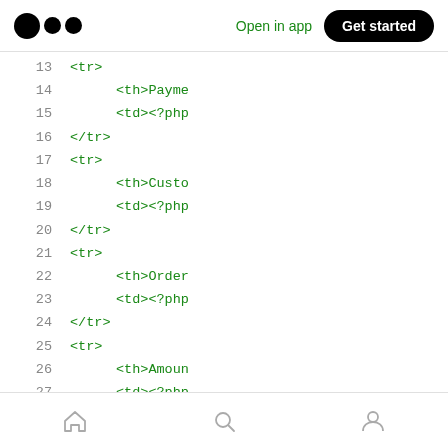Open in app | Get started
13   <tr>
14       <th>Payme
15       <td><?php
16   </tr>
17   <tr>
18       <th>Custo
19       <td><?php
20   </tr>
21   <tr>
22       <th>Order
23       <td><?php
24   </tr>
25   <tr>
26       <th>Amoun
27       <td><?php
28   </tr>
home | search | profile